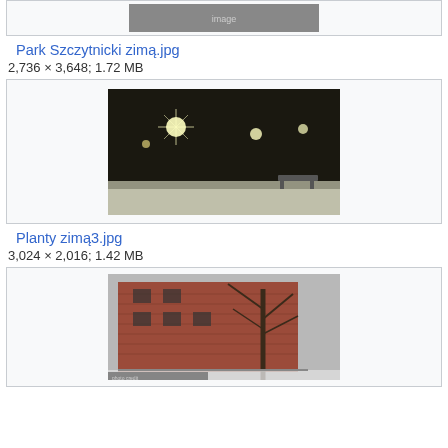[Figure (photo): Partial top image, appears to be a panoramic outdoor photo, cropped at top]
Park Szczytnicki zimą.jpg
2,736 × 3,648; 1.72 MB
[Figure (photo): Night scene of a snow-covered park with street lights glowing, benches visible]
Planty zimą3.jpg
3,024 × 2,016; 1.42 MB
[Figure (photo): Winter photo of a brick building with a bare tree in front, snow on the ground]